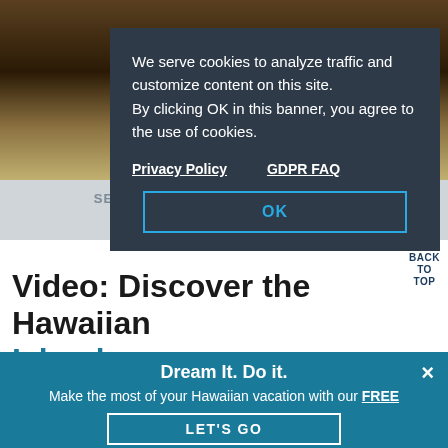[Figure (screenshot): Background image showing a dark outdoor/landscape scene at the top of the page]
SEARCH HAWAII ATTRACTIONS AND ACTIVITIES...
We serve cookies to analyze traffic and customize content on this site. By clicking OK in this banner, you agree to the use of cookies.
Privacy Policy    GDPR FAQ
OK
BACK TO TOP
Video: Discover the Hawaiian Islands
Dream It. Do it.
Make the most of your Hawaiian vacation with our FREE Official Visitors' Guide.
LET'S GO